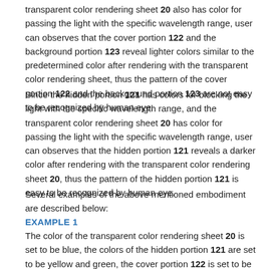transparent color rendering sheet 20 also has color for passing the light with the specific wavelength range, user can observes that the cover portion 122 and the background portion 123 reveal lighter colors similar to the predetermined color after rendering with the transparent color rendering sheet, thus the pattern of the cover portion 122 and the background portion 123 are not easy to be recognized by human eye.
Since the hidden portion 121 has colors for blocking the light with the specific wavelength range, and the transparent color rendering sheet 20 has color for passing the light with the specific wavelength range, user can observes that the hidden portion 121 reveals a darker color after rendering with the transparent color rendering sheet 20, thus the pattern of the hidden portion 121 is easy to be recognized by human eye.
Several examples of the above mentioned embodiment are described below:
EXAMPLE 1
The color of the transparent color rendering sheet 20 is set to be blue, the colors of the hidden portion 121 are set to be yellow and green, the cover portion 122 is set to be blue. The yellow color of the hidden portion 121 can be provided by a yellow color sublayer. The blue color of the cover portion 122 can be provided by color mixing of a cyan color sublayer and a magenta color sublayer. When the transparent color rendering sheet 20 is